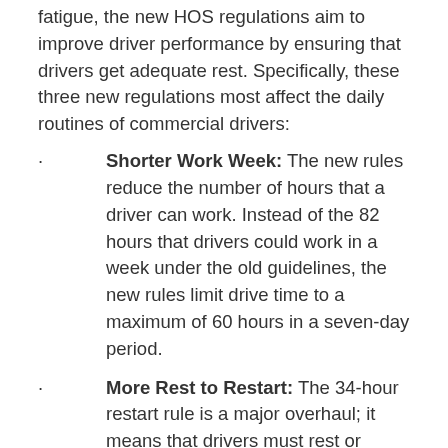fatigue, the new HOS regulations aim to improve driver performance by ensuring that drivers get adequate rest. Specifically, these three new regulations most affect the daily routines of commercial drivers:
Shorter Work Week: The new rules reduce the number of hours that a driver can work. Instead of the 82 hours that drivers could work in a week under the old guidelines, the new rules limit drive time to a maximum of 60 hours in a seven-day period.
More Rest to Restart: The 34-hour restart rule is a major overhaul; it means that drivers must rest or otherwise be off-duty for a period of 34 consecutive hours before beginning (or restarting) a new work week. Further, a restart must include two off-duty periods that fall from 1 a.m. to 5 a.m. — due to data that indicates drivers have more accidents during these early-morning